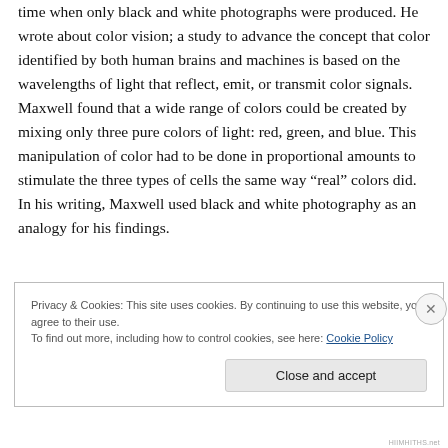time when only black and white photographs were produced. He wrote about color vision; a study to advance the concept that color identified by both human brains and machines is based on the wavelengths of light that reflect, emit, or transmit color signals. Maxwell found that a wide range of colors could be created by mixing only three pure colors of light: red, green, and blue. This manipulation of color had to be done in proportional amounts to stimulate the three types of cells the same way “real” colors did. In his writing, Maxwell used black and white photography as an analogy for his findings.
Privacy & Cookies: This site uses cookies. By continuing to use this website, you agree to their use.
To find out more, including how to control cookies, see here: Cookie Policy
Close and accept
HIIMHITHS.net